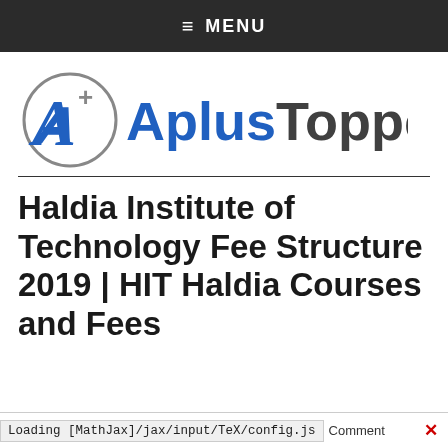≡ MENU
[Figure (logo): Aplus Topper logo with stylized A+ in circle followed by AplusTopper text in blue and gray]
Haldia Institute of Technology Fee Structure 2019 | HIT Haldia Courses and Fees
Loading [MathJax]/jax/input/TeX/config.js   Comment